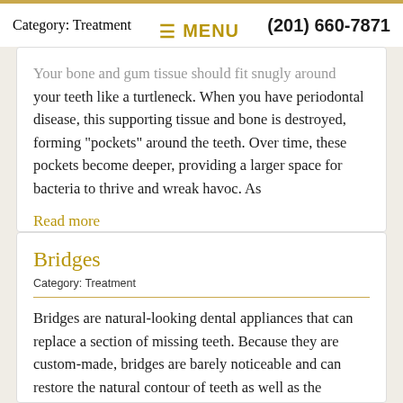MENU   (201) 660-7871
Your bone and gum tissue should fit snugly around your teeth like a turtleneck. When you have periodontal disease, this supporting tissue and bone is destroyed, forming "pockets" around the teeth. Over time, these pockets become deeper, providing a larger space for bacteria to thrive and wreak havoc. As
Read more
Bridges
Category: Treatment
Bridges are natural-looking dental appliances that can replace a section of missing teeth. Because they are custom-made, bridges are barely noticeable and can restore the natural contour of teeth as well as the